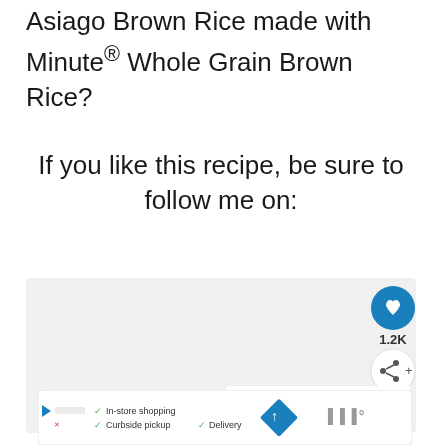Asiago Brown Rice made with Minute® Whole Grain Brown Rice?
If you like this recipe, be sure to follow me on:
[Figure (screenshot): Social media widget area with heart/like button showing 1.2K likes and a share button, plus a 'What's Next' panel showing Asiago Bruschetta... with thumbnail]
[Figure (screenshot): Advertisement banner showing in-store shopping, curbside pickup, and delivery options with navigation icon and store logo]